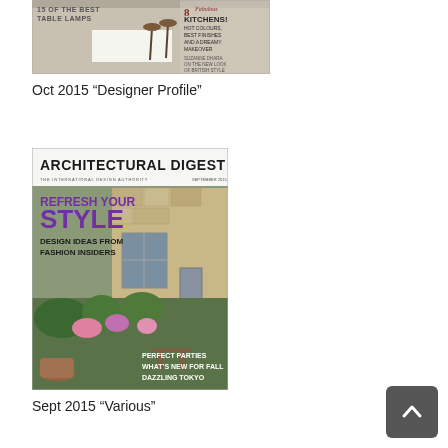[Figure (photo): Magazine cover thumbnail showing a kitchen interior with bar stools and text '15 OF THE BEST TABLE LAMPS', '8 Fabulous KITCHENS! HOT COLOURS, BEST FINISHES AND A DREAMY MAKEOVER', 'SUZANNE DHARA ON THE NEW LOOK OF BRITISH STYLE']
Oct 2015 “Designer Profile”
[Figure (photo): Architectural Digest magazine cover showing a stone cottage with garden, text 'REFRESH YOUR STYLE', 'DESIGN IDEAS FROM FASHION INSIDERS', 'PERFECT PARTIES', 'WHAT’S NEW FOR FALL', 'DAZZLING TOKYO']
Sept 2015 “Various”